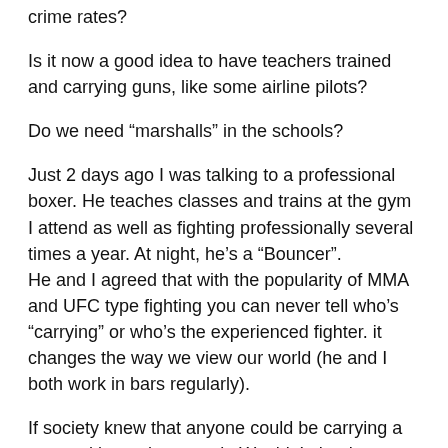crime rates?
Is it now a good idea to have teachers trained and carrying guns, like some airline pilots?
Do we need “marshalls” in the schools?
Just 2 days ago I was talking to a professional boxer. He teaches classes and trains at the gym I attend as well as fighting professionally several times a year. At night, he’s a “Bouncer”. He and I agreed that with the popularity of MMA and UFC type fighting you can never tell who’s “carrying” or who’s the experienced fighter. it changes the way we view our world (he and I both work in bars regularly).
If society knew that anyone could be carrying a gun and is ready to use it. Wouldn’t that have folks thinking twice before committing a crime?